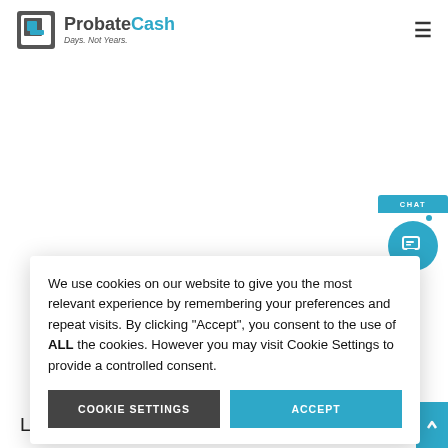[Figure (logo): ProbateCash logo with icon, bold text 'ProbateCash' and tagline 'Days. Not Years.']
[Figure (illustration): Chat bubble and chat icon circle in teal/blue on the right side]
We use cookies on our website to give you the most relevant experience by remembering your preferences and repeat visits. By clicking “Accept”, you consent to the use of ALL the cookies. However you may visit Cookie Settings to provide a controlled consent.
COOKIE SETTINGS
ACCEPT
Learn About Our West Palm Beach, FL...